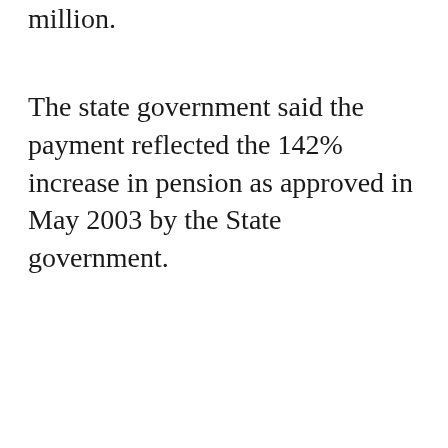million.
The state government said the payment reflected the 142% increase in pension as approved in May 2003 by the State government.